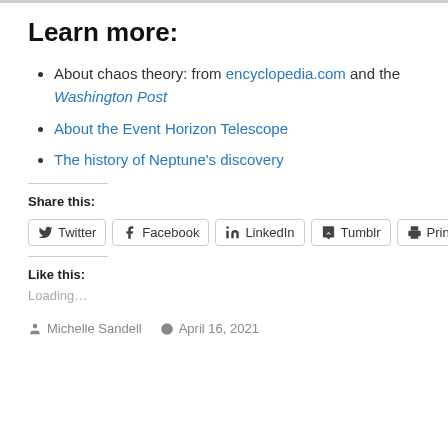Learn more:
About chaos theory: from encyclopedia.com and the Washington Post
About the Event Horizon Telescope
The history of Neptune's discovery
Share this:
Twitter  Facebook  LinkedIn  Tumblr  Print
Like this:
Loading…
Michelle Sandell   April 16, 2021